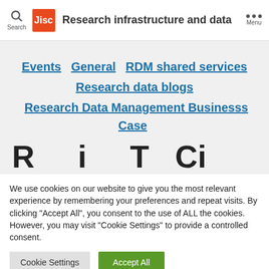Research infrastructure and data
Events
General
RDM shared services
Research data blogs
Research Data Management Businesss Case
We use cookies on our website to give you the most relevant experience by remembering your preferences and repeat visits. By clicking "Accept All", you consent to the use of ALL the cookies. However, you may visit "Cookie Settings" to provide a controlled consent.